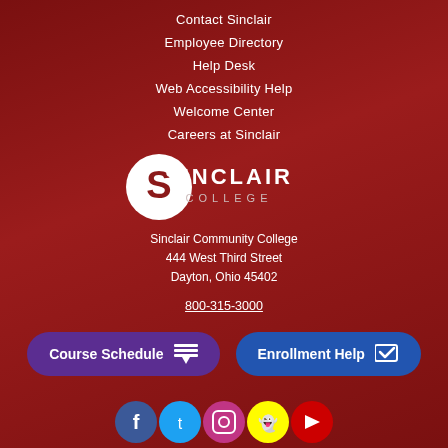Contact Sinclair
Employee Directory
Help Desk
Web Accessibility Help
Welcome Center
Careers at Sinclair
[Figure (logo): Sinclair College logo - white circular S mark with SINCLAIR COLLEGE text]
Sinclair Community College
444 West Third Street
Dayton, Ohio 45402
800-315-3000
Course Schedule
Enrollment Help
[Figure (illustration): Social media icons row: Facebook, Twitter, YouTube/Instagram, Snapchat, and another icon]